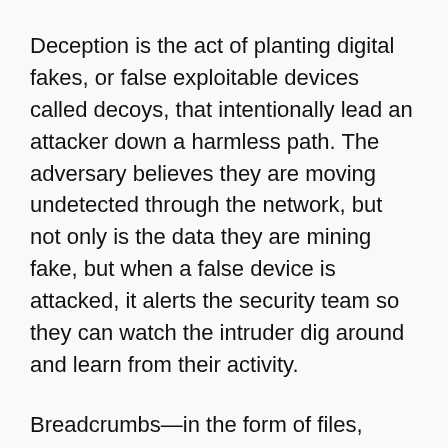Deception is the act of planting digital fakes, or false exploitable devices called decoys, that intentionally lead an attacker down a harmless path. The adversary believes they are moving undetected through the network, but not only is the data they are mining fake, but when a false device is attacked, it alerts the security team so they can watch the intruder dig around and learn from their activity.
Breadcrumbs—in the form of files, email, documents, fake credentials, browser or application data—are distributed as bait among real-assets and decoys. Anyone who finds their way to a decoy is a threat, whether malicious or accidental, because there is no valid purpose to use these assets. Once they've